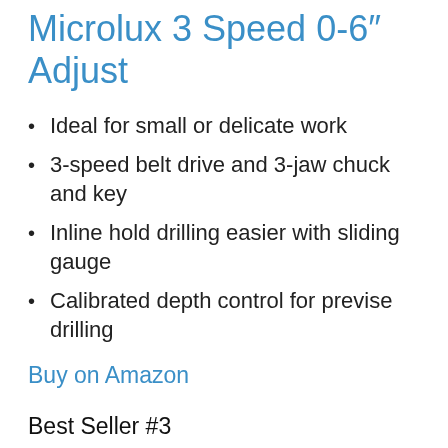Microlux 3 Speed 0-6″ Adjust
Ideal for small or delicate work
3-speed belt drive and 3-jaw chuck and key
Inline hold drilling easier with sliding gauge
Calibrated depth control for previse drilling
Buy on Amazon
Best Seller #3